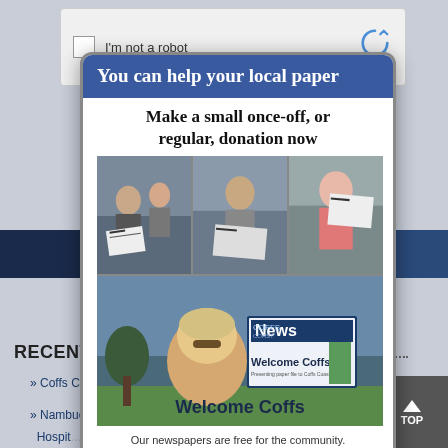[Figure (screenshot): CAPTCHA widget with checkbox labeled 'I'm not a robot' and reCAPTCHA logo]
[Figure (infographic): Modal popup advertisement for local newspaper donation. Header: 'You can help your local paper'. Text: 'Make a small once-off, or regular, donation now'. Photos of people reading newspapers outdoors. Welcome Coffs newspaper image. Bottom text: 'Our newspapers are free for the community. Click Now to help support us into the future.' News Of The Area logo.]
RECENTLY U
» Coffs Co... plans
» Nambuc... ks
Hospit...